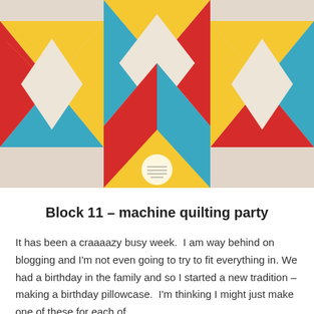[Figure (photo): A colorful patchwork quilt block featuring geometric shapes in red, yellow, blue/teal, and cream/beige. The quilt shows diamond and triangle patterns arranged in a decorative block design. A small circular watermark or logo is visible at the bottom center of the image.]
Block 11 – machine quilting party
It has been a craaaazy busy week.  I am way behind on blogging and I'm not even going to try to fit everything in. We had a birthday in the family and so I started a new tradition – making a birthday pillowcase.  I'm thinking I might just make one of these for each of